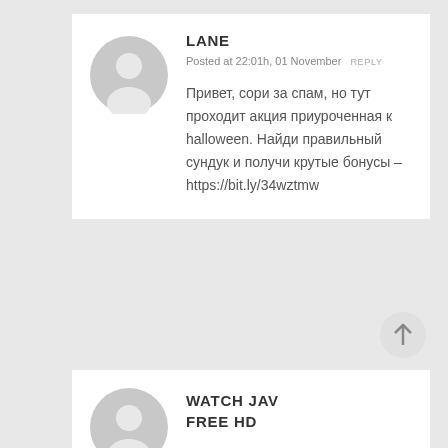LANE
Posted at 22:01h, 01 November  REPLY
Привет, сори за спам, но тут проходит акция приуроченная к halloween. Найди правильный сундук и получи крутые бонусы – https://bit.ly/34wztmw
[Figure (illustration): Scroll to top button with upward arrow]
WATCH JAV FREE HD